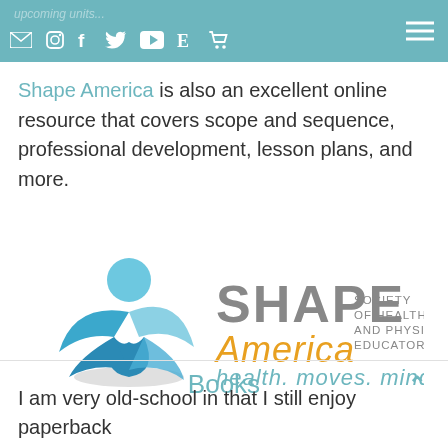upcoming units...
Shape America is also an excellent online resource that covers scope and sequence, professional development, lesson plans, and more.
[Figure (logo): SHAPE America logo — Society of Health and Physical Educators — health. moves. minds. — with a blue figure with wings and the word SHAPE in gray and America in orange.]
Books
I am very old-school in that I still enjoy paperback